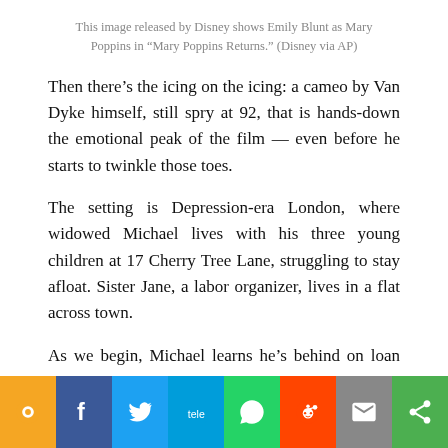This image released by Disney shows Emily Blunt as Mary Poppins in “Mary Poppins Returns.” (Disney via AP)
Then there’s the icing on the icing: a cameo by Van Dyke himself, still spry at 92, that is hands-down the emotional peak of the film — even before he starts to twinkle those toes.
The setting is Depression-era London, where widowed Michael lives with his three young children at 17 Cherry Tree Lane, struggling to stay afloat. Sister Jane, a labor organizer, lives in a flat across town.
As we begin, Michael learns he’s behind on loan pay… he’s